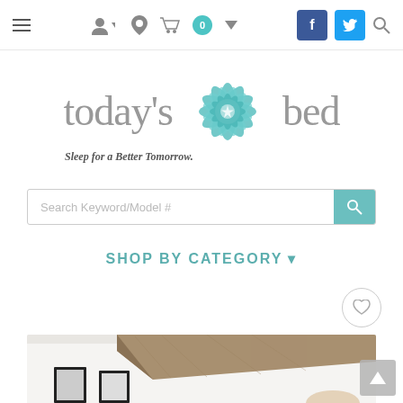Navigation bar with hamburger menu, user icon, location, cart (0), Facebook, Twitter, and search icons
[Figure (logo): Today's Bed logo with teal flower/mandala design and tagline 'Sleep for a Better Tomorrow.']
Search Keyword/Model #
SHOP BY CATEGORY ▾
[Figure (photo): Bedroom interior showing a wooden beam on white wall with framed pictures below]